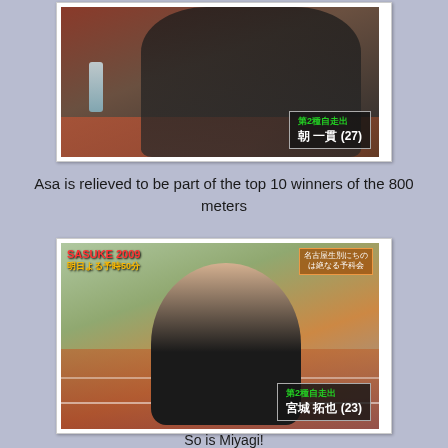[Figure (photo): A man in a dark jacket at a running track, holding a water bottle, looking to the side. A lower-third graphic overlay shows Japanese text (第2種自走出) and 朝 一貫 (27).]
Asa is relieved to be part of the top 10 winners of the 800 meters
[Figure (photo): A bald young man in a black jacket standing on a running track. Upper left overlay reads SASUKE 2009 / 明日よる予時50分. Upper right shows Japanese text in orange box. Lower right overlay shows Japanese text (第2種自走出) and 宮城 拓也 (23).]
So is Miyagi!